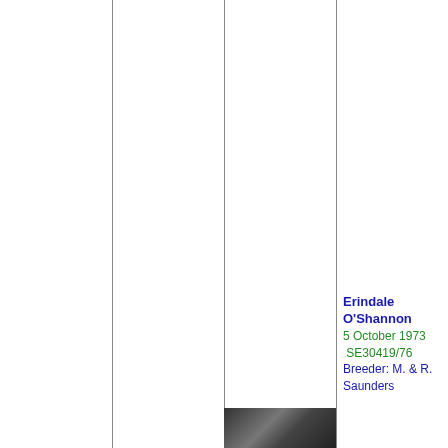[Figure (organizational-chart): Pedigree chart showing dog ancestry. Column 3 shows '5 CH Tarlachs O'Bannon', born 15 January 1977, registration S15792/77. Column 4 shows 'Erindale O'Shannon', born 5 October 1973, registration SE30419/76, Breeder: M. & R. Saunders. Vertical divider lines separate columns. A photo thumbnail appears at the bottom of column 2.]